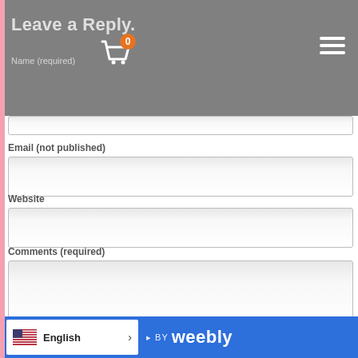Leave a Reply
Name (required)
Email (not published)
Website
Comments (required)
Notify me of new comments to this post by email
English | POWERED BY weebly